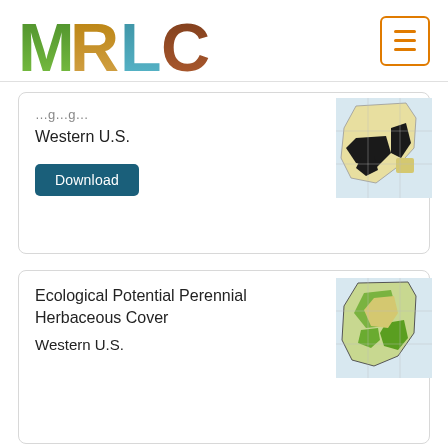[Figure (logo): MRLC logo with nature-textured letters M R L C]
[Figure (other): Hamburger menu button with orange border]
Western U.S.
[Figure (map): Map thumbnail of Western U.S. land cover with black and yellow regions]
Download
More
Ecological Potential Perennial Herbaceous Cover
[Figure (map): Map thumbnail of Western U.S. with green vegetation coverage]
Western U.S.